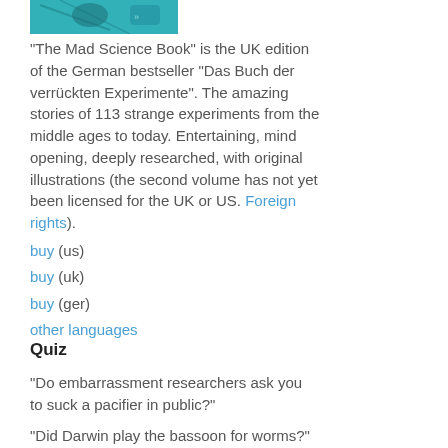[Figure (photo): Top portion of a book cover for 'The Mad Science Book', showing a teal/turquoise background with an illustrated figure.]
"The Mad Science Book" is the UK edition of the German bestseller "Das Buch der verrückten Experimente". The amazing stories of 113 strange experiments from the middle ages to today. Entertaining, mind opening, deeply researched, with original illustrations (the second volume has not yet been licensed for the UK or US. Foreign rights).
buy (us)
buy (uk)
buy (ger)
other languages
Quiz
"Do embarrassment researchers ask you to suck a pacifier in public?"
"Did Darwin play the bassoon for worms?"
Know the answers? Then you are ready for the